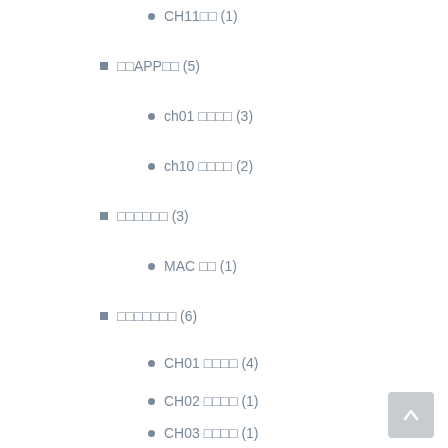CH11□□ (1)
□□APP□□ (5)
ch01 □□□□ (3)
ch10 □□□□ (2)
□□□□□□ (3)
MAC □□ (1)
□□□□□□□ (6)
CH01 □□□□ (4)
CH02 □□□□ (1)
CH03 □□□□ (1)
□□□□□ (362)
Web Service (1)